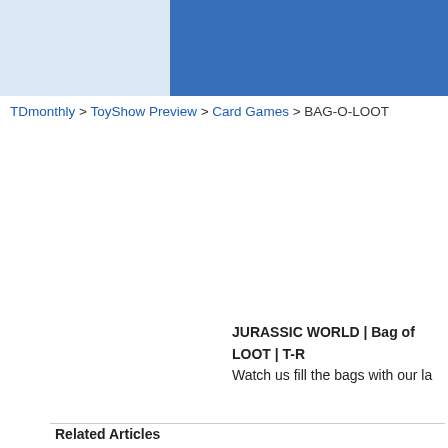[Figure (other): Website header banner with light blue left section and dark blue right section]
TDmonthly > ToyShow Preview > Card Games > BAG-O-LOOT
JURASSIC WORLD | Bag of LOOT | T-R
Watch us fill the bags with our la
Related Articles